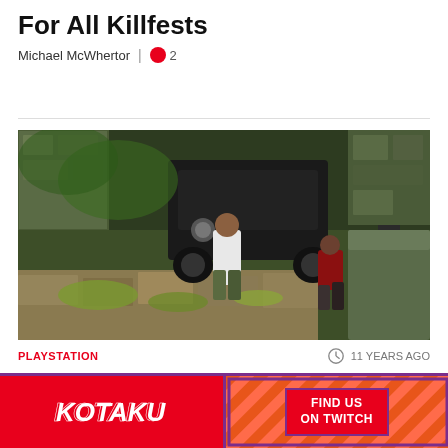For All Killfests
Michael McWhertor  |  💬 2
[Figure (screenshot): Uncharted 3 multiplayer gameplay screenshot showing characters fighting in a tropical ruins environment with a vehicle in the background]
PLAYSTATION
11 YEARS AGO
First Look At Uncharted 3's All-New Multiplayer Mode
[Figure (logo): Kotaku logo on red background with 'FIND US ON TWITCH' button on patterned background, purple border advertisement banner]